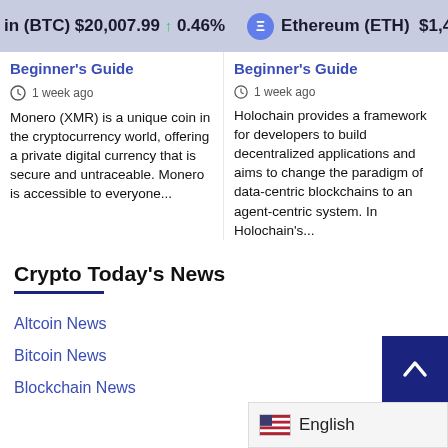in (BTC) $20,007.99 ↑ 0.46% Ethereum (ETH) $1,475.83
Beginner's Guide
1 week ago
Monero (XMR) is a unique coin in the cryptocurrency world, offering a private digital currency that is secure and untraceable. Monero is accessible to everyone...
Beginner's Guide
1 week ago
Holochain provides a framework for developers to build decentralized applications and aims to change the paradigm of data-centric blockchains to an agent-centric system. In Holochain's...
Crypto Today's News
Altcoin News
Bitcoin News
Blockchain News